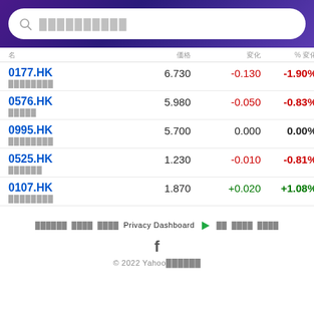Search bar with placeholder text
| 名 | 価格 | 変化 | % 変化 |
| --- | --- | --- | --- |
| 0177.HK | 6.730 | -0.130 | -1.90% |
| 0576.HK | 5.980 | -0.050 | -0.83% |
| 0995.HK | 5.700 | 0.000 | 0.00% |
| 0525.HK | 1.230 | -0.010 | -0.81% |
| 0107.HK | 1.870 | +0.020 | +1.08% |
ヘルプとサポート プライバシー 規約 Privacy Dashboard ▷ 広告 フィードバック データの取扱い © 2022 Yahoo Japan